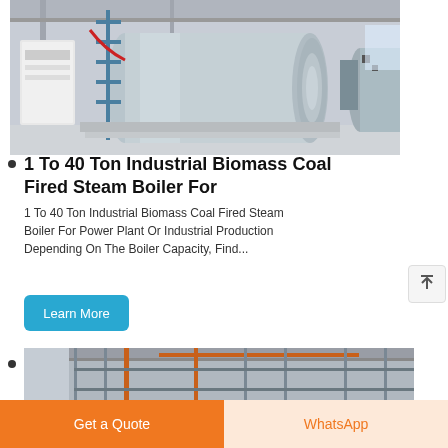[Figure (photo): Industrial biomass coal fired steam boiler inside a factory/power plant facility. Large cylindrical horizontal boiler tank in light blue/gray color with metal framework, pipes, and machinery visible in background.]
1 To 40 Ton Industrial Biomass Coal Fired Steam Boiler For
1 To 40 Ton Industrial Biomass Coal Fired Steam Boiler For Power Plant Or Industrial Production Depending On The Boiler Capacity, Find...
Learn More
[Figure (photo): Partial view of industrial boiler or steam plant equipment with metal framework and piping.]
Get a Quote
WhatsApp